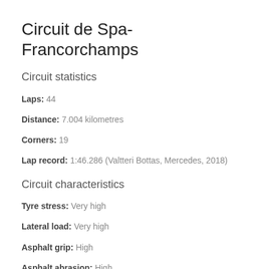Circuit de Spa-Francorchamps
Circuit statistics
Laps: 44
Distance: 7.004 kilometres
Corners: 19
Lap record: 1:46.286 (Valtteri Bottas, Mercedes, 2018)
Circuit characteristics
Tyre stress: Very high
Lateral load: Very high
Asphalt grip: High
Asphalt abrasion: High
Downforce: Low